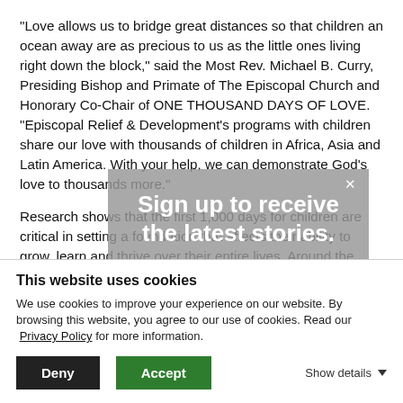“Love allows us to bridge great distances so that children an ocean away are as precious to us as the little ones living right down the block,” said the Most Rev. Michael B. Curry, Presiding Bishop and Primate of The Episcopal Church and Honorary Co-Chair of ONE THOUSAND DAYS OF LOVE. “Episcopal Relief & Development’s programs with children share our love with thousands of children in Africa, Asia and Latin America. With your help, we can demonstrate God’s love to thousands more.”
[Figure (other): Modal overlay with text: Sign up to receive the latest stories. with close button (x)]
Research shows that the first 1,000 days for children are critical in setting a foundation that affects their ability to grow, learn and thrive over their entire lives. Around the world, 155 million children under five are stunted due to
This website uses cookies
We use cookies to improve your experience on our website. By browsing this website, you agree to our use of cookies. Read our Privacy Policy for more information.